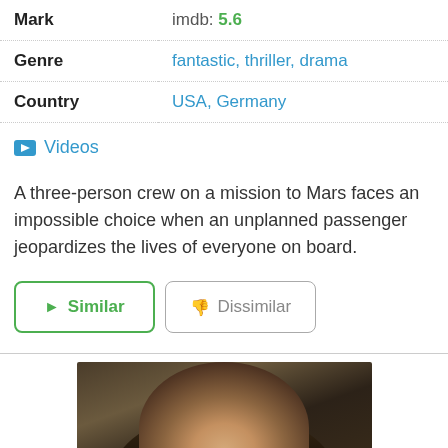| Field | Value |
| --- | --- |
| Mark | imdb: 5.6 |
| Genre | fantastic, thriller, drama |
| Country | USA, Germany |
📹 Videos
A three-person crew on a mission to Mars faces an impossible choice when an unplanned passenger jeopardizes the lives of everyone on board.
► Similar   👎 Dissimilar
[Figure (photo): Movie poster or still image showing a woman with long flowing hair against a dark background.]